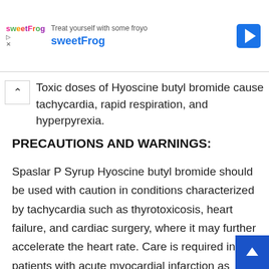[Figure (screenshot): SweetFrog advertisement banner with logo, tagline 'Treat yourself with some froyo', brand name 'sweetFrog', navigation arrow icon, play and close icons]
Toxic doses of Hyoscine butyl bromide cause tachycardia, rapid respiration, and hyperpyrexia.
PRECAUTIONS AND WARNINGS:
Spaslar P Syrup Hyoscine butyl bromide should be used with caution in conditions characterized by tachycardia such as thyrotoxicosis, heart failure, and cardiac surgery, where it may further accelerate the heart rate. Care is required in patients with acute myocardial infarction as ischemia and infarction may be made worse. It should be given with care to patients with hypertension caution has been advised in patients with